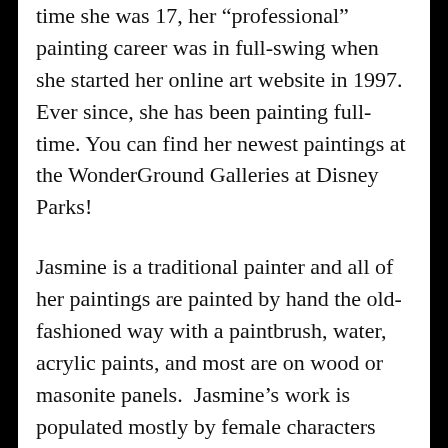time she was 17, her "professional" painting career was in full-swing when she started her online art website in 1997. Ever since, she has been painting full-time. You can find her newest paintings at the WonderGround Galleries at Disney Parks!
Jasmine is a traditional painter and all of her paintings are painted by hand the old-fashioned way with a paintbrush, water, acrylic paints, and most are on wood or masonite panels.  Jasmine's work is populated mostly by female characters with large luminous eyes, in a pop surrealism style dominated by whimsical, fantastic, gothic or historical themes.